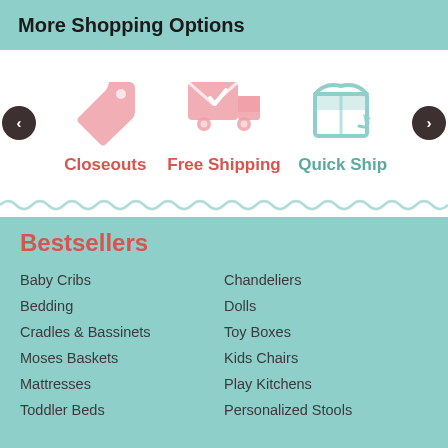More Shopping Options
[Figure (infographic): Carousel with three icons: a price tag (Closeouts), a delivery truck with checkmark (Free Shipping), and a box with arrow (Quick Ship). Left and right navigation arrows on sides.]
Closeouts
Free Shipping
Quick Ship
Bestsellers
Baby Cribs
Bedding
Cradles & Bassinets
Moses Baskets
Mattresses
Toddler Beds
Chandeliers
Dolls
Toy Boxes
Kids Chairs
Play Kitchens
Personalized Stools